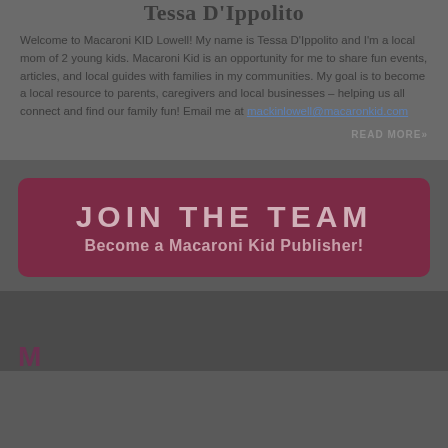Tessa D'Ippolito
Welcome to Macaroni KID Lowell! My name is Tessa D'Ippolito and I'm a local mom of 2 young kids. Macaroni Kid is an opportunity for me to share fun events, articles, and local guides with families in my communities. My goal is to become a local resource to parents, caregivers and local businesses – helping us all connect and find our family fun! Email me at mackinlowell@macaronkid.com
READ MORE»
[Figure (illustration): Dark red/maroon rounded rectangle banner reading 'JOIN THE TEAM' in large bold uppercase letters with subtitle 'Become a Macaroni Kid Publisher!']